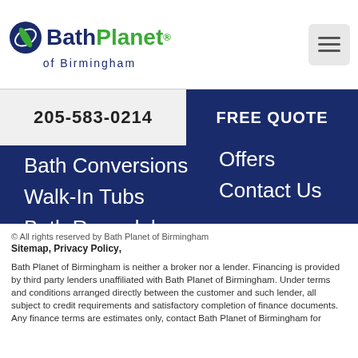[Figure (logo): Bath Planet of Birmingham logo with green leaf icon and dark blue text]
205-583-0214
FREE QUOTE
Bath Conversions
Walk-In Tubs
Bath Remodel
Offers
Contact Us
© All rights reserved by Bath Planet of Birmingham
Sitemap, Privacy Policy,
Bath Planet of Birmingham is neither a broker nor a lender. Financing is provided by third party lenders unaffiliated with Bath Planet of Birmingham. Under terms and conditions arranged directly between the customer and such lender, all subject to credit requirements and satisfactory completion of finance documents. Any finance terms are estimates only, contact Bath Planet of Birmingham for